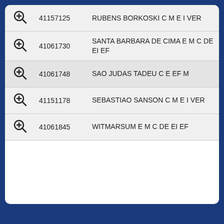|  | ID | Name |
| --- | --- | --- |
|  | 41157125 | RUBENS BORKOSKI C M E I VER |
|  | 41061730 | SANTA BARBARA DE CIMA E M C DE EI EF |
|  | 41061748 | SAO JUDAS TADEU C E EF M |
|  | 41151178 | SEBASTIAO SANSON C M E I VER |
|  | 41061845 | WITMARSUM E M C DE EI EF |